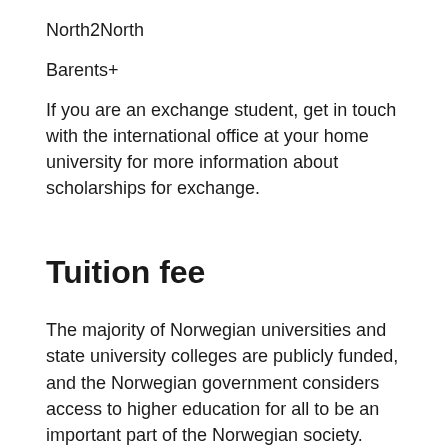North2North
Barents+
If you are an exchange student, get in touch with the international office at your home university for more information about scholarships for exchange.
Tuition fee
The majority of Norwegian universities and state university colleges are publicly funded, and the Norwegian government considers access to higher education for all to be an important part of the Norwegian society. Thus, as a rule, Norwegian public institutions do not charge tuition fees. This also applies to international students, no matter which country you come from